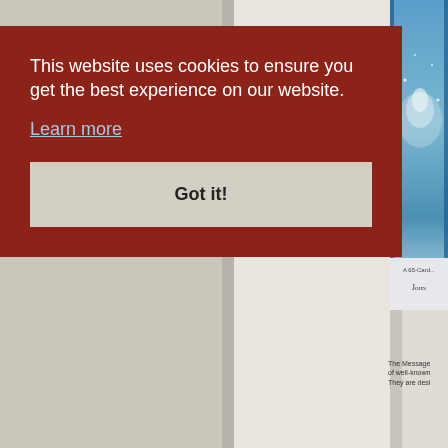This website uses cookies to ensure you get the best experience on our website.
Learn more
Got it!
[Figure (illustration): Partial view of a book cover with blue/fantasy artwork, showing text 'A 65-Card...' and author name starting with 'John']
The Message of well-known They are desi